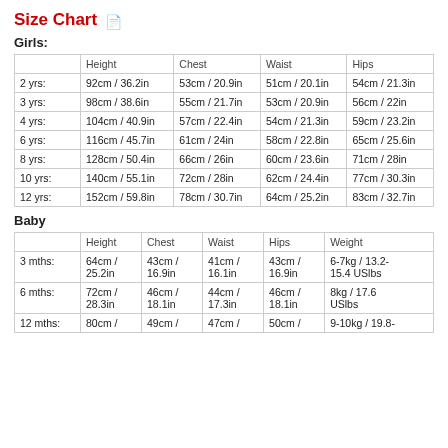Size Chart
Girls:
|  | Height | Chest | Waist | Hips |
| --- | --- | --- | --- | --- |
| 2 yrs: | 92cm / 36.2in | 53cm / 20.9in | 51cm / 20.1in | 54cm / 21.3in |
| 3 yrs: | 98cm / 38.6in | 55cm / 21.7in | 53cm / 20.9in | 56cm / 22in |
| 4 yrs: | 104cm / 40.9in | 57cm / 22.4in | 54cm / 21.3in | 59cm / 23.2in |
| 6 yrs: | 116cm / 45.7in | 61cm / 24in | 58cm / 22.8in | 65cm / 25.6in |
| 8 yrs: | 128cm / 50.4in | 66cm / 26in | 60cm / 23.6in | 71cm / 28in |
| 10 yrs: | 140cm / 55.1in | 72cm / 28in | 62cm / 24.4in | 77cm / 30.3in |
| 12 yrs: | 152cm / 59.8in | 78cm / 30.7in | 64cm / 25.2in | 83cm / 32.7in |
Baby
|  | Height | Chest | Waist | Hips | Weight |
| --- | --- | --- | --- | --- | --- |
| 3 mths: | 64cm /
25.2in | 43cm /
16.9in | 41cm /
16.1in | 43cm /
16.9in | 6-7kg / 13.2-
15.4 USlbs |
| 6 mths: | 72cm /
28.3in | 46cm /
18.1in | 44cm /
17.3in | 46cm /
18.1in | 8kg / 17.6
USlbs |
| 12 mths: | 80cm / | 49cm / | 47cm / | 50cm / | 9-10kg / 19.8- |